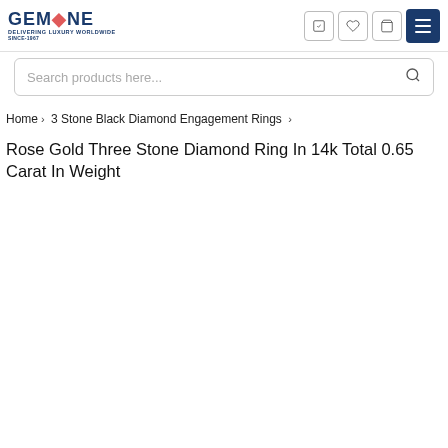GEMONE - DELIVERING LUXURY WORLDWIDE SINCE-1967 [logo with navigation icons and menu]
Search products here...
Home › 3 Stone Black Diamond Engagement Rings › Rose Gold Three Stone Diamond Ring In 14k Total 0.65 Carat In Weight